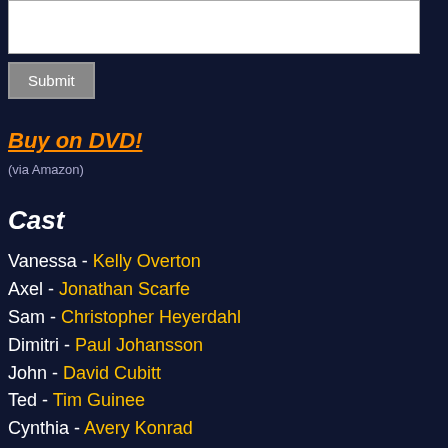[Figure (screenshot): White textarea input box at top of page]
Submit
Buy on DVD!
(via Amazon)
Cast
Vanessa - Kelly Overton
Axel - Jonathan Scarfe
Sam - Christopher Heyerdahl
Dimitri - Paul Johansson
John - David Cubitt
Ted - Tim Guinee
Cynthia - Avery Konrad
Catherine - Sarah Desjardins